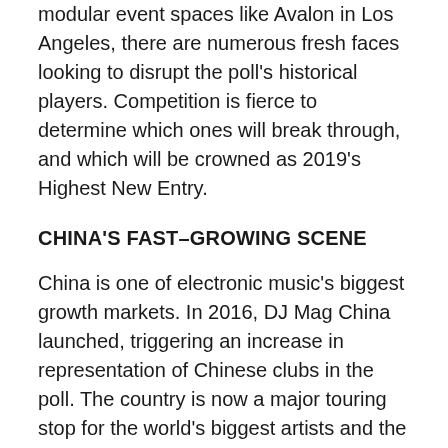modular event spaces like Avalon in Los Angeles, there are numerous fresh faces looking to disrupt the poll's historical players. Competition is fierce to determine which ones will break through, and which will be crowned as 2019's Highest New Entry.
CHINA'S FAST–GROWING SCENE
China is one of electronic music's biggest growth markets. In 2016, DJ Mag China launched, triggering an increase in representation of Chinese clubs in the poll. The country is now a major touring stop for the world's biggest artists and the scene's growth has parallels with the EDM boom in the United States over the last decade. This year, we introduced a new SMS voting system to make it easier for Chinese voters to take part, without requiring a Facebook or Google account. This technical solution has the potential to